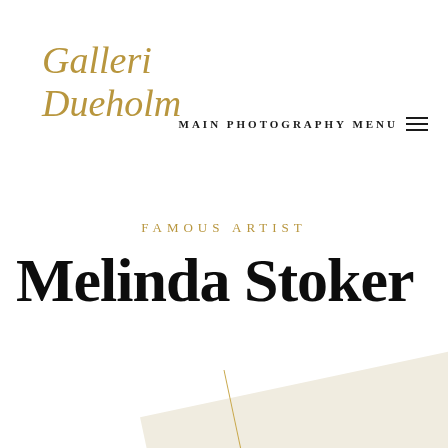[Figure (logo): Galleri Dueholm cursive script logo in gold/tan color]
MAIN PHOTOGRAPHY MENU ≡
FAMOUS ARTIST
Melinda Stoker